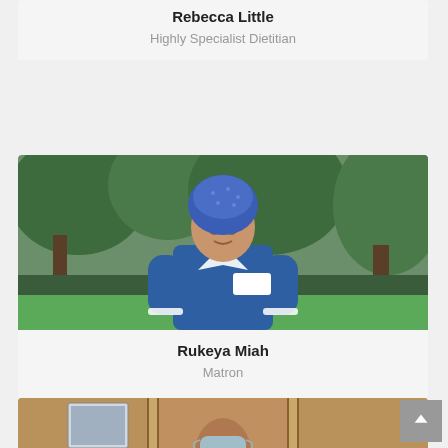Rebecca Little
Highly Specialist Dietitian
[Figure (photo): Photograph of Rukeya Miah, a nurse wearing a blue uniform and blue patterned head covering, standing outdoors in front of green trees and hedges.]
Rukeya Miah
Matron
[Figure (photo): Partial photograph of a third person, partially visible at the bottom of the page, wearing a face mask, indoors near wooden cabinets.]